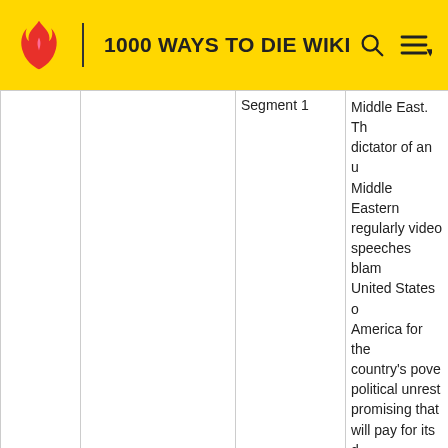1000 WAYS TO DIE WIKI
|  |  | Segment 1 |  |
| --- | --- | --- | --- |
|  |  | Segment 1 | Middle East. The dictator of an u Middle Eastern regularly video speeches blam United States o America for the country's pove political unrest promising that will pay for its d ways. In private however, the d obsessed with America, often up as a cowboy private room fi American mem and a table with |